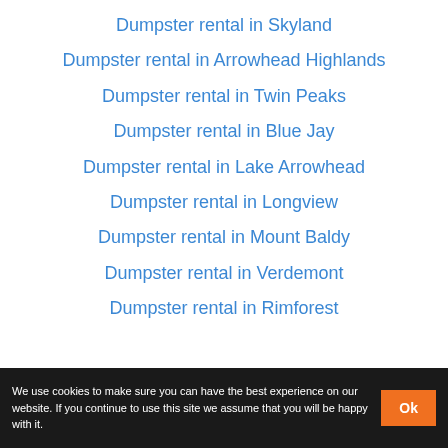Dumpster rental in Skyland
Dumpster rental in Arrowhead Highlands
Dumpster rental in Twin Peaks
Dumpster rental in Blue Jay
Dumpster rental in Lake Arrowhead
Dumpster rental in Longview
Dumpster rental in Mount Baldy
Dumpster rental in Verdemont
Dumpster rental in Rimforest
We use cookies to make sure you can have the best experience on our website. If you continue to use this site we assume that you will be happy with it. Ok